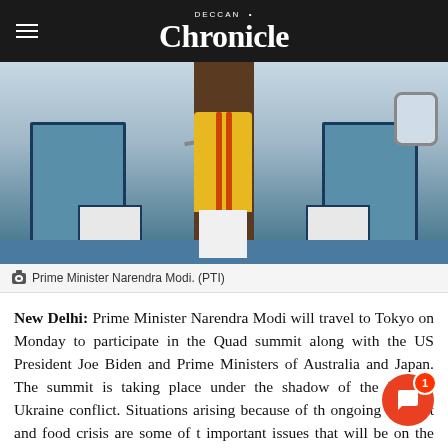DECCAN Chronicle
[Figure (photo): Prime Minister Narendra Modi boarding an aircraft, wearing a yellow kurta with orange stripes and white trousers, standing on airplane stairs.]
Prime Minister Narendra Modi. (PTI)
New Delhi: Prime Minister Narendra Modi will travel to Tokyo on Monday to participate in the Quad summit along with the US President Joe Biden and Prime Ministers of Australia and Japan. The summit is taking place under the shadow of the Russia-Ukraine conflict. Situations arising because of the ongoing conflict and food crisis are some of the important issues that will be on the table of the Quad.